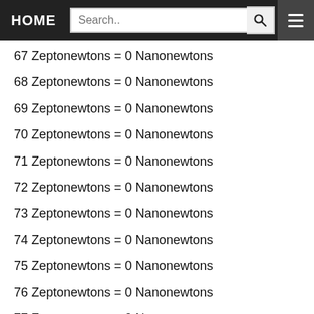HOME | Search..
67 Zeptonewtons = 0 Nanonewtons
68 Zeptonewtons = 0 Nanonewtons
69 Zeptonewtons = 0 Nanonewtons
70 Zeptonewtons = 0 Nanonewtons
71 Zeptonewtons = 0 Nanonewtons
72 Zeptonewtons = 0 Nanonewtons
73 Zeptonewtons = 0 Nanonewtons
74 Zeptonewtons = 0 Nanonewtons
75 Zeptonewtons = 0 Nanonewtons
76 Zeptonewtons = 0 Nanonewtons
77 Zeptonewtons = 0 Nanonewtons